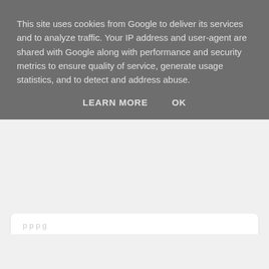This site uses cookies from Google to deliver its services and to analyze traffic. Your IP address and user-agent are shared with Google along with performance and security metrics to ensure quality of service, generate usage statistics, and to detect and address abuse.
LEARN MORE   OK
Reply
twinlay06
10 November 2016 at 23:30
Furchester Hotel, grandson has a few of their toys
Reply